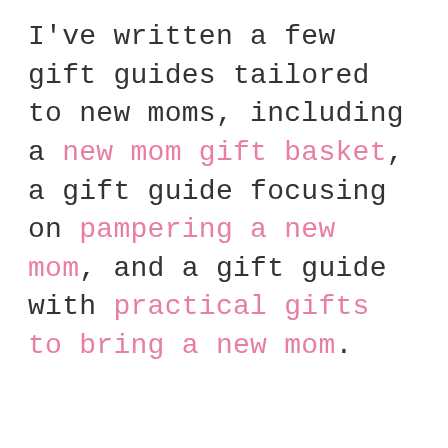I've written a few gift guides tailored to new moms, including a new mom gift basket, a gift guide focusing on pampering a new mom, and a gift guide with practical gifts to bring a new mom.